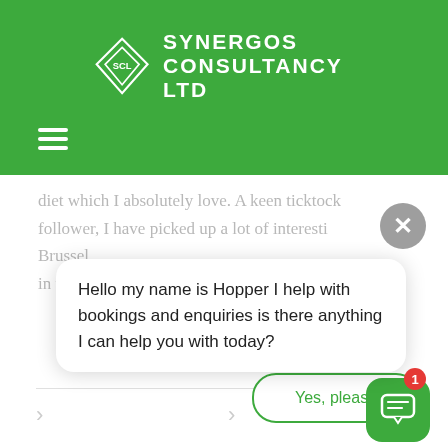[Figure (logo): Synergos Consultancy Ltd logo with diamond SCL emblem on green header background]
diet which I absolutely love. A keen tick tock follower, I have picked up a lot of interesti... Brussel... in the o...
Hello my name is Hopper I help with bookings and enquiries is there anything I can help you with today?
Yes, please